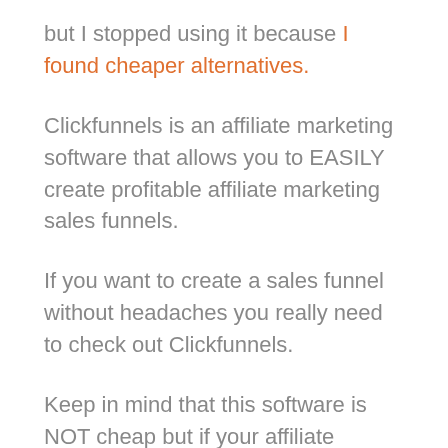but I stopped using it because I found cheaper alternatives.
Clickfunnels is an affiliate marketing software that allows you to EASILY create profitable affiliate marketing sales funnels.
If you want to create a sales funnel without headaches you really need to check out Clickfunnels.
Keep in mind that this software is NOT cheap but if your affiliate business is generating for you a good income then you must try Clickfunnels.